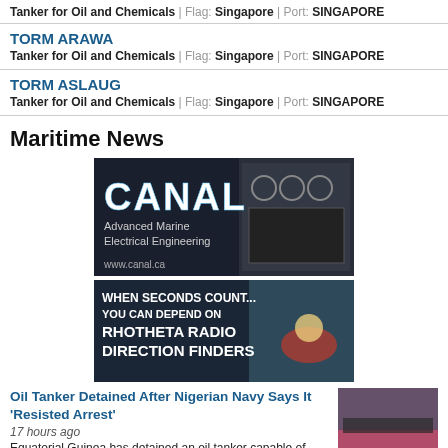Tanker for Oil and Chemicals | Flag: Singapore | Port: SINGAPORE
TORM ARAWA
Tanker for Oil and Chemicals | Flag: Singapore | Port: SINGAPORE
TORM ASLAUG
Tanker for Oil and Chemicals | Flag: Singapore | Port: SINGAPORE
Maritime News
[Figure (advertisement): CANAL Advanced Marine Electrical Engineering www.canal.ca advertisement with dark background]
[Figure (advertisement): WHEN SECONDS COUNT... YOU CAN DEPEND ON RHOTHETA RADIO DIRECTION FINDERS advertisement with rescue image]
Oil Tanker Detained After Nigerian Navy Says It 'Resisted Arrest'
17 hours ago
Equatorial Guinea has detained an oil tanker capable of